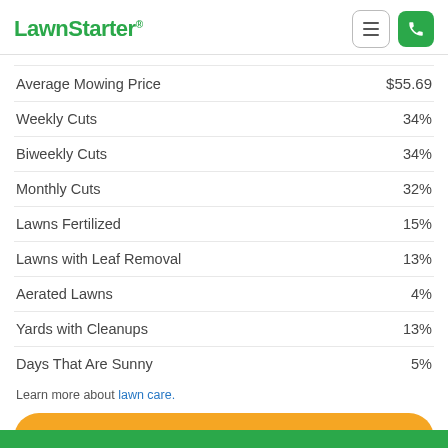LawnStarter
|  |  |
| --- | --- |
| Average Mowing Price | $55.69 |
| Weekly Cuts | 34% |
| Biweekly Cuts | 34% |
| Monthly Cuts | 32% |
| Lawns Fertilized | 15% |
| Lawns with Leaf Removal | 13% |
| Aerated Lawns | 4% |
| Yards with Cleanups | 13% |
| Days That Are Sunny | 5% |
Learn more about lawn care.
GET AN INSTANT PRICE